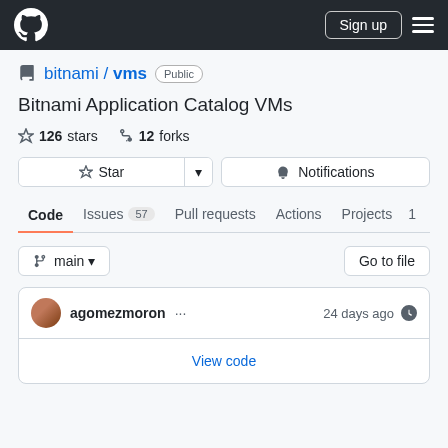GitHub navigation bar with Sign up button
bitnami / vms  Public
Bitnami Application Catalog VMs
126 stars  12 forks
Star  Notifications
Code  Issues 57  Pull requests  Actions  Projects  1
main  Go to file
agomezmoron ...  24 days ago
View code